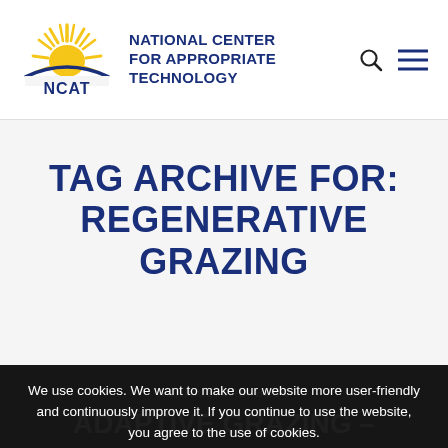[Figure (logo): NCAT logo with sun rays above a curved blue line and text 'NCAT' below]
NATIONAL CENTER FOR APPROPRIATE TECHNOLOGY
TAG ARCHIVE FOR: REGENERATIVE GRAZING
AGRICULTURE, BLOG
ADAPTIVE GRAZING – YOU CAN DO IT
We use cookies. We want to make our website more user-friendly and continuously improve it. If you continue to use the website, you agree to the use of cookies.
OK